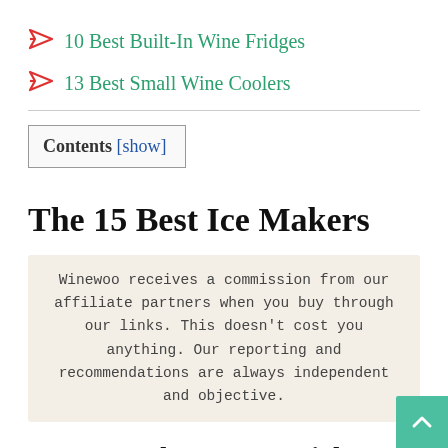10 Best Built-In Wine Fridges
13 Best Small Wine Coolers
Contents [show]
The 15 Best Ice Makers
Winewoo receives a commission from our affiliate partners when you buy through our links. This doesn't cost you anything. Our reporting and recommendations are always independent and objective.
1. HomeLabs Commercial Freestanding Ice Maker – Our Pick